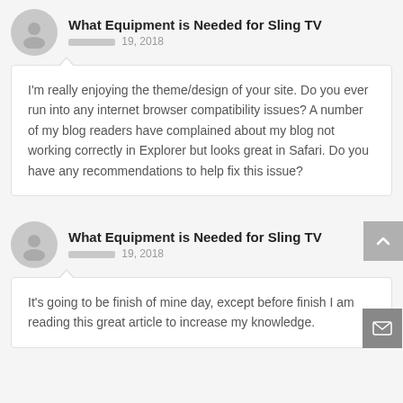What Equipment is Needed for Sling TV
ааааааа 19, 2018
I'm really enjoying the theme/design of your site. Do you ever run into any internet browser compatibility issues? A number of my blog readers have complained about my blog not working correctly in Explorer but looks great in Safari. Do you have any recommendations to help fix this issue?
What Equipment is Needed for Sling TV
ааааааа 19, 2018
It's going to be finish of mine day, except before finish I am reading this great article to increase my knowledge.